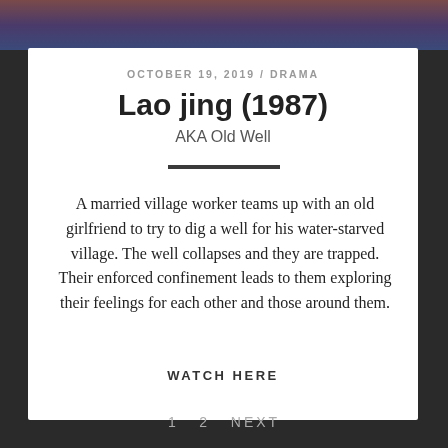[Figure (photo): Top portion of a photo showing people, partially cropped]
OCTOBER 19, 2019 / DRAMA
Lao jing (1987)
AKA Old Well
A married village worker teams up with an old girlfriend to try to dig a well for his water-starved village. The well collapses and they are trapped. Their enforced confinement leads to them exploring their feelings for each other and those around them.
WATCH HERE
1   2   NEXT